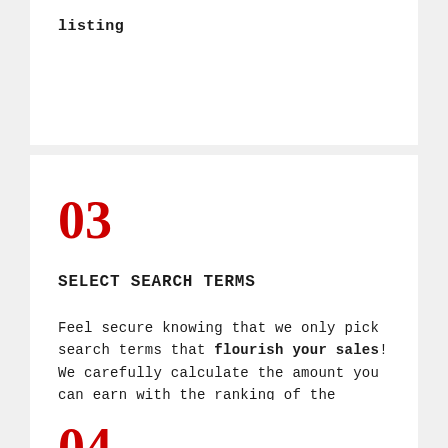listing
03
SELECT SEARCH TERMS
Feel secure knowing that we only pick search terms that flourish your sales! We carefully calculate the amount you can earn with the ranking of the keyword
04